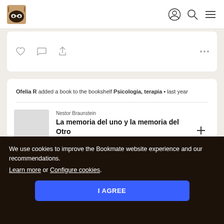Bookmate navigation bar with logo and icons
Ofelia R added a book to the bookshelf Psicologia, terapia • last year
Nestor Braunstein
La memoria del uno y la memoria del Otro
🔖17 ★6 📋6
We use cookies to improve the Bookmate website experience and our recommendations.
Learn more or Configure cookies.
I AGREE